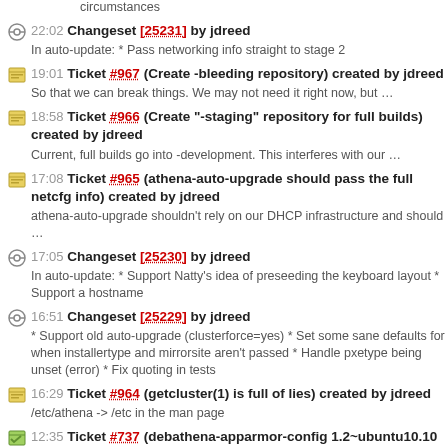circumstances
22:02 Changeset [25231] by jdreed
In auto-update: * Pass networking info straight to stage 2
19:01 Ticket #967 (Create -bleeding repository) created by jdreed
So that we can break things. We may not need it right now, but …
18:58 Ticket #966 (Create "-staging" repository for full builds) created by jdreed
Current, full builds go into -development. This interferes with our …
17:08 Ticket #965 (athena-auto-upgrade should pass the full netcfg info) created by jdreed
athena-auto-upgrade shouldn't rely on our DHCP infrastructure and should …
17:05 Changeset [25230] by jdreed
In auto-update: * Support Natty's idea of preseeding the keyboard layout * Support a hostname
16:51 Changeset [25229] by jdreed
* Support old auto-upgrade (clusterforce=yes) * Set some sane defaults for when installertype and mirrorsite aren't passed * Handle pxetype being unset (error) * Fix quoting in tests
16:29 Ticket #964 (getcluster(1) is full of lies) created by jdreed
/etc/athena -> /etc in the man page
12:35 Ticket #737 (debathena-apparmor-config 1.2~ubuntu10.10 fails to install) closed by jdreed